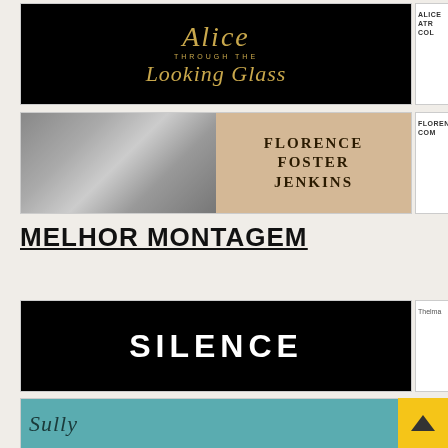[Figure (illustration): Alice Through the Looking Glass movie title card on black background with golden decorative typography]
[Figure (illustration): Florence Foster Jenkins movie poster with black-and-white photo of woman in angel costume on left and title text on beige background on right]
MELHOR MONTAGEM
[Figure (illustration): Silence movie title card - white bold text on black background]
[Figure (illustration): Sully movie title card on teal/blue background with italic serif text]